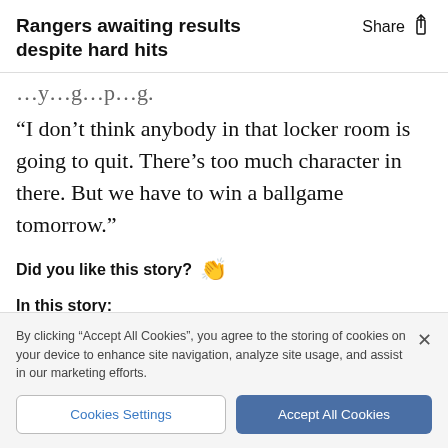Rangers awaiting results despite hard hits
…y…g…p…g.
“I don’t think anybody in that locker room is going to quit. There’s too much character in there. But we have to win a ballgame tomorrow.”
Did you like this story? 👏
In this story:
By clicking “Accept All Cookies”, you agree to the storing of cookies on your device to enhance site navigation, analyze site usage, and assist in our marketing efforts.